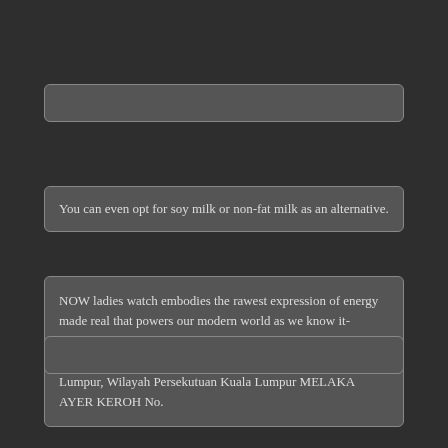You can even opt for soy milk or non-fat milk as an alternative.
NOW ladies watch embodies the rawest expression of energy made real that powers our modern world as we know it- electricity! PLAZA DAMAS Hartamas Shopping Centre 60, Jalan Sri Hartamas 1, Taman Sri Hartamas, 50480 Kuala Lumpur, Wilayah Persekutuan Kuala Lumpur MELAKA AYER KEROH No.